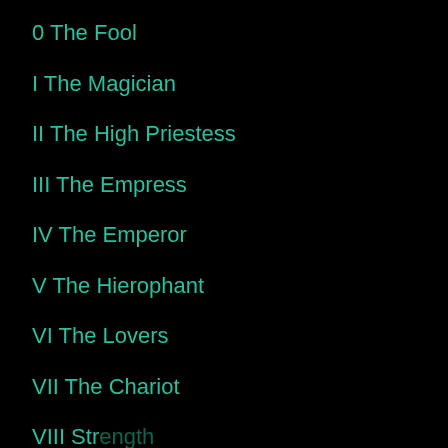0 The Fool
I The Magician
II The High Priestess
III The Empress
IV The Emperor
V The Hierophant
VI The Lovers
VII The Chariot
VIII Strength